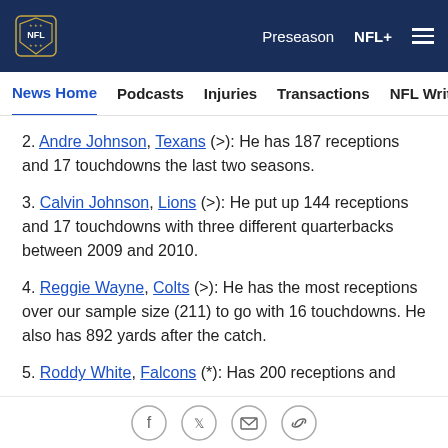NFL | Preseason | NFL+
News Home | Podcasts | Injuries | Transactions | NFL Writers | Se
2. Andre Johnson, Texans (>): He has 187 receptions and 17 touchdowns the last two seasons.
3. Calvin Johnson, Lions (>): He put up 144 receptions and 17 touchdowns with three different quarterbacks between 2009 and 2010.
4. Reggie Wayne, Colts (>): He has the most receptions over our sample size (211) to go with 16 touchdowns. He also has 892 yards after the catch.
5. Roddy White, Falcons (*): Has 200 receptions and
Social share icons: Facebook, Twitter, Email, Link